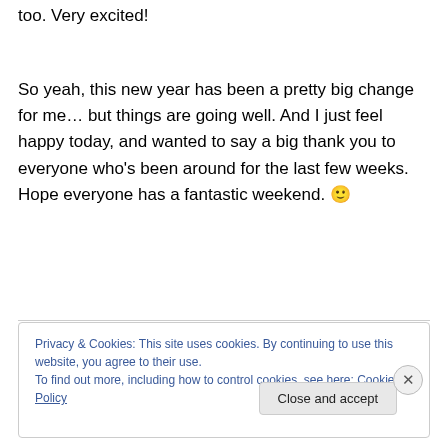too. Very excited!
So yeah, this new year has been a pretty big change for me… but things are going well. And I just feel happy today, and wanted to say a big thank you to everyone who's been around for the last few weeks. Hope everyone has a fantastic weekend. 🙂
Privacy & Cookies: This site uses cookies. By continuing to use this website, you agree to their use. To find out more, including how to control cookies, see here: Cookie Policy
Close and accept